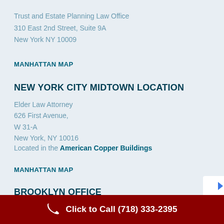Trust and Estate Planning Law Office
310 East 2nd Street, Suite 9A
New York NY 10009
MANHATTAN MAP
NEW YORK CITY MIDTOWN LOCATION
Elder Law Attorney
626 First Avenue,
W 31-A
New York, NY 10016
Located in the American Copper Buildings
MANHATTAN MAP
BROOKLYN OFFICE
Click to Call (718) 333-2395